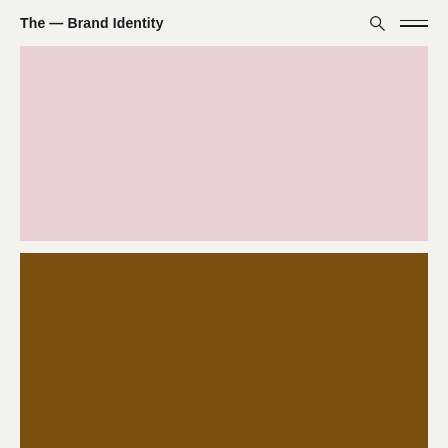The — Brand Identity
[Figure (other): Solid pink/mauve color block filling the upper content area]
[Figure (other): Solid dark brown color block filling the lower content area]